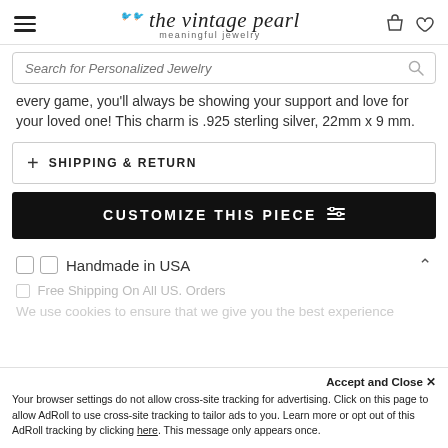the vintage pearl - meaningful jewelry
Search for Personalized Jewelry
every game, you'll always be showing your support and love for your loved one! This charm is .925 sterling silver, 22mm x 9 mm.
+ SHIPPING & RETURN
CUSTOMIZE THIS PIECE
🏠 Handmade in USA
🚚 Free Shipping On All US. Orders
We use cookies to ensure that we give you the best experience on our website. Your browser settings do not allow cross-site tracking for advertising. Click on this page to allow AdRoll to use cross-site tracking to tailor ads to you. Learn more or opt out of this AdRoll tracking by clicking here. This message only appears once.